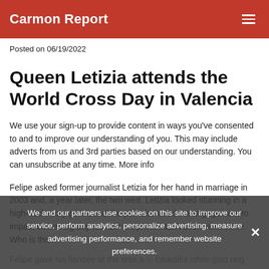Carmon Report
Posted on 06/19/2022
Queen Letizia attends the World Cross Day in Valencia
We use your sign-up to provide content in ways you've consented to and to improve our understanding of you. This may include adverts from us and 3rd parties based on our understanding. You can unsubscribe at any time. More info
Felipe asked former journalist Letizia for her hand in marriage in 2003 and, a year later, the two wed. Letizia looked stunning in a high-neck ivory gown, and the pair also used the engagement to impact on her big day too, but the jewel hasn't been seen since. Who is this
Felipe gave his fiancée at the time a beautiful white gold ring featuring 16 small baguette-cut diamonds
We and our partners use cookies on this site to improve our service, perform analytics, personalize advertising, measure advertising performance, and remember website preferences.